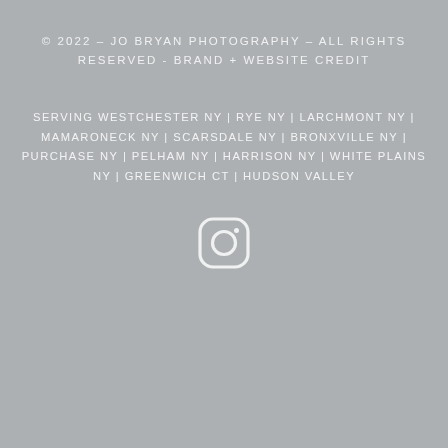© 2022 - JO BRYAN PHOTOGRAPHY – ALL RIGHTS RESERVED - BRAND + WEBSITE CREDIT
SERVING WESTCHESTER NY | RYE NY | LARCHMONT NY | MAMARONECK NY | SCARSDALE NY | BRONXVILLE NY | PURCHASE NY | PELHAM NY | HARRISON NY | WHITE PLAINS NY | GREENWICH CT | HUDSON VALLEY
[Figure (logo): Instagram icon outline in white]